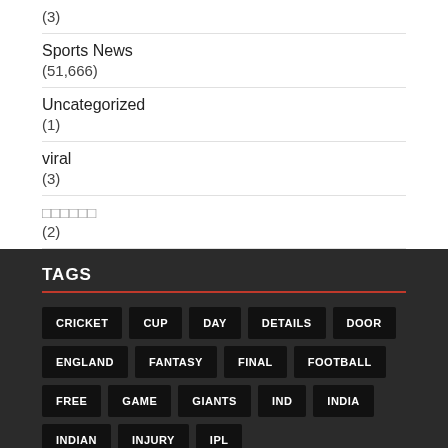(3)
Sports News
(51,666)
Uncategorized
(1)
viral
(3)
□□□□□□
(2)
TAGS
CRICKET CUP DAY DETAILS DOOR ENGLAND FANTASY FINAL FOOTBALL FREE GAME GIANTS IND INDIA INDIAN INJURY IPL